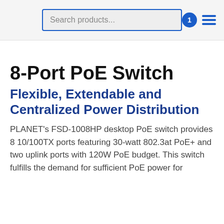Search products...
8-Port PoE Switch
Flexible, Extendable and Centralized Power Distribution
PLANET's FSD-1008HP desktop PoE switch provides 8 10/100TX ports featuring 30-watt 802.3at PoE+ and two uplink ports with 120W PoE budget. This switch fulfills the demand for sufficient PoE power for